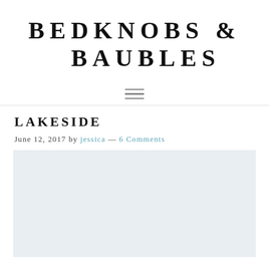BEDKNOBS & BAUBLES
[Figure (other): Hamburger menu icon with three horizontal lines]
LAKESIDE
June 12, 2017 by jessica — 6 Comments
[Figure (photo): Featured image placeholder with light blue-grey background]